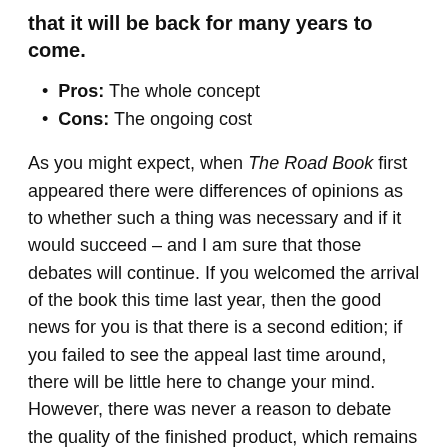that it will be back for many years to come.
Pros: The whole concept
Cons: The ongoing cost
As you might expect, when The Road Book first appeared there were differences of opinions as to whether such a thing was necessary and if it would succeed – and I am sure that those debates will continue. If you welcomed the arrival of the book this time last year, then the good news for you is that there is a second edition; if you failed to see the appeal last time around, there will be little here to change your mind. However, there was never a reason to debate the quality of the finished product, which remains unsurpassed.
> Buy this online here
It seems that The Road Book team judged the book's